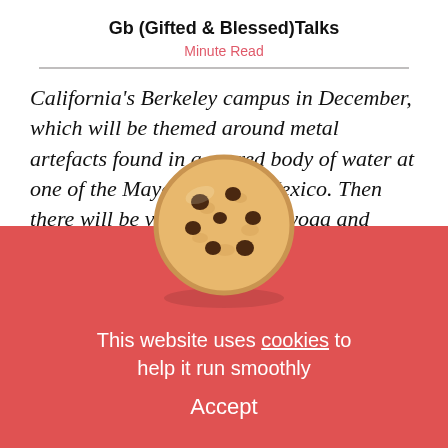Gb (Gifted & Blessed)Talks
Minute Read
California's Berkeley campus in December, which will be themed around metal artefacts found in a sacred body of water at one of the Mayan ruins in Mexico. Then there will be various parties, yoga and movement workshops, sound meditations and other reasons to share music, which I will announce on my w
[Figure (illustration): Cookie emoji illustration - a round chocolate chip cookie]
This website uses cookies to help it run smoothly
Accept